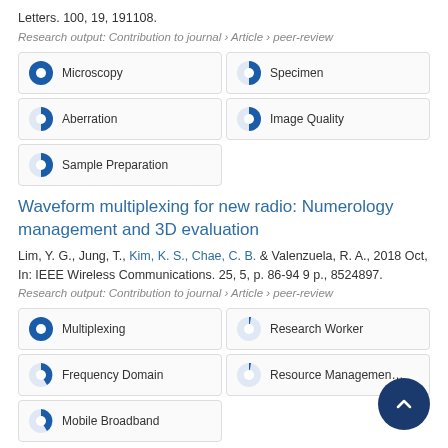Letters. 100, 19, 191108.
Research output: Contribution to journal › Article › peer-review
[Figure (infographic): Five keyword badges with pie chart icons: Microscopy (100%), Specimen (~55%), Aberration (~55%), Image Quality (~55%), Sample Preparation (~55%)]
Waveform multiplexing for new radio: Numerology management and 3D evaluation
Lim, Y. G., Jung, T., Kim, K. S., Chae, C. B. & Valenzuela, R. A., 2018 Oct, In: IEEE Wireless Communications. 25, 5, p. 86-94 9 p., 8524897.
Research output: Contribution to journal › Article › peer-review
[Figure (infographic): Five keyword badges with pie chart icons: Multiplexing (100%), Research Worker (~15%), Frequency Domain (~20%), Resource Management (~15%), Mobile Broadband (~20%)]